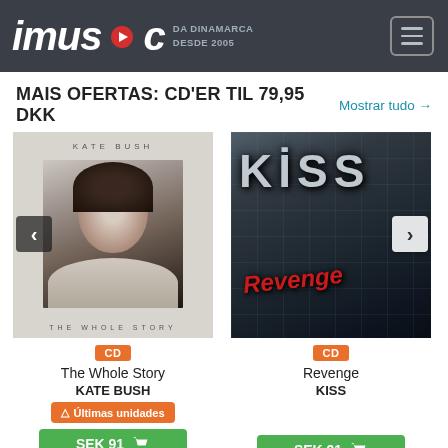[Figure (logo): imusic logo with play button icon, tagline DA DINAMARCA DESDE 2005, and hamburger menu icon]
MAIS OFERTAS: CD'ER TIL 79,95 DKK
Mostrar tudo →
[Figure (photo): Kate Bush - The Whole Story album cover: black and white photo of Kate Bush with her name in spaced letters and 'THE WHOLE STORY' subtitle. Includes left navigation arrow.]
[Figure (photo): KISS - Revenge album cover: dark metallic grid background with KISS logo in grey and REVENGE in red graffiti text. Includes right navigation arrow.]
CD
CD
The Whole Story
KATE BUSH
⚠ Últimas unidades
Revenge
KISS
SEK 91 🛒
SEK 91 🛒